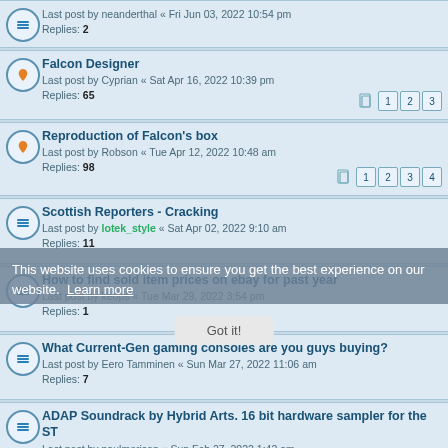Last post by neanderthal « Fri Jun 03, 2022 10:54 pm
Replies: 2
Falcon Designer
Last post by Cyprian « Sat Apr 16, 2022 10:39 pm
Replies: 65
Pages: 1 2 3
Reproduction of Falcon's box
Last post by Robson « Tue Apr 12, 2022 10:48 am
Replies: 98
Pages: 1 2 3 4
Scottish Reporters - Cracking
Last post by lotek_style « Sat Apr 02, 2022 9:10 am
Replies: 11
How to find sold item prices on ebay for past year
Last post by keops « Tue Mar 29, 2022 3:54 pm
Replies: 1
What Current-Gen gaming consoles are you guys buying?
Last post by Eero Tamminen « Sun Mar 27, 2022 11:06 am
Replies: 7
ADAP Soundrack by Hybrid Arts. 16 bit hardware sampler for the ST
Last post by paulmorison « Sun Feb 27, 2022 1:42 am
ADAP Soundrack by Hybrid Arts. 16 bit hardware sampler for the ST
Last post by paulmorison « Sat Feb 26, 2022 1:32 pm
Calling all gamers - gaming mice recommendations?
Last post by albert90 « Wed Feb 23, 2022 1:31 pm
Replies: 4
This website uses cookies to ensure you get the best experience on our website. Learn more
Got it!